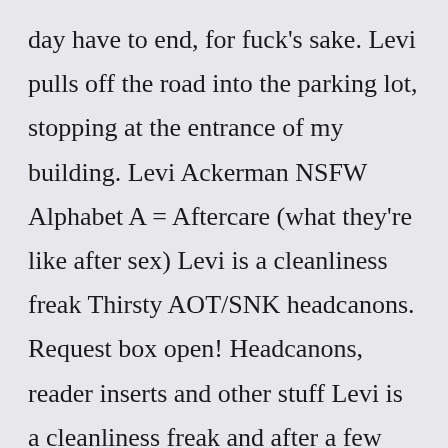day have to end, for fuck's sake. Levi pulls off the road into the parking lot, stopping at the entrance of my building. Levi Ackerman NSFW Alphabet A = Aftercare (what they're like after sex) Levi is a cleanliness freak Thirsty AOT/SNK headcanons. Request box open! Headcanons, reader inserts and other stuff Levi is a cleanliness freak and after a few moments of holding you and making sure that you are okay...I would like the